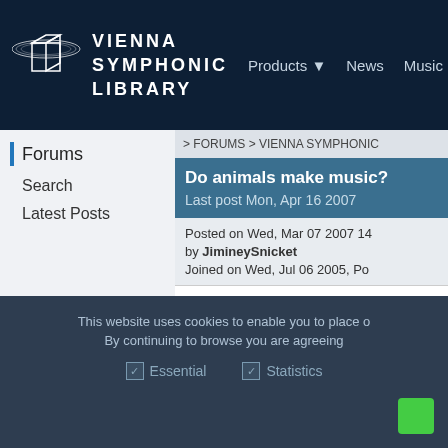VIENNA SYMPHONIC LIBRARY — Products, News, Music
Forums
Search
Latest Posts
> FORUMS > VIENNA SYMPHONIC
Do animals make music?
Last post Mon, Apr 16 2007
Posted on Wed, Mar 07 2007 14
by JimineySnicket
Joined on Wed, Jul 06 2005, Po
Unrelated to the VSL but I reckon
This website uses cookies to enable you to place
By continuing to browse you are agreeing
Essential   Statistics